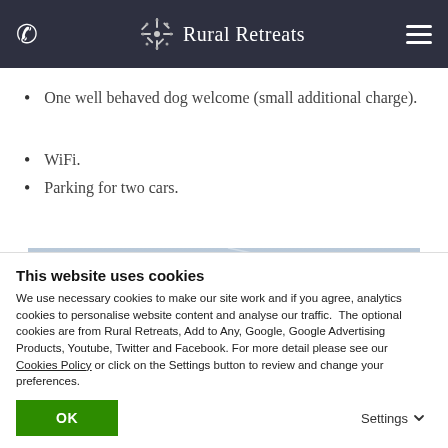Rural Retreats
One well behaved dog welcome (small additional charge).
WiFi.
Parking for two cars.
[Figure (photo): Outdoor landscape photo showing a pale sky with light streaks and bare tree silhouettes in the distance]
This website uses cookies
We use necessary cookies to make our site work and if you agree, analytics cookies to personalise website content and analyse our traffic. The optional cookies are from Rural Retreats, Add to Any, Google, Google Advertising Products, Youtube, Twitter and Facebook. For more detail please see our Cookies Policy or click on the Settings button to review and change your preferences.